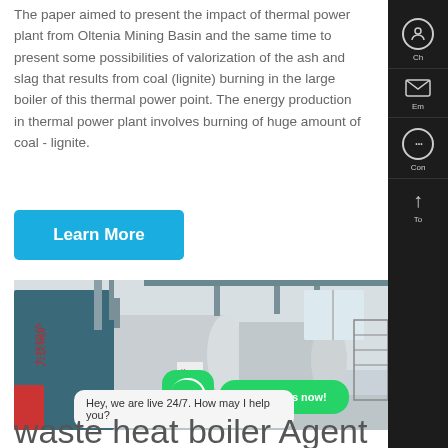The paper aimed to present the impact of thermal power plant from Oltenia Mining Basin and the same time to present some possibilities of valorization of the ash and slag that results from coal (lignite) burning in the large boiler of this thermal power point. The energy production in thermal power plant involves burning of huge amount of coal - lignite.
[Figure (other): Blue 'Learn More' button]
[Figure (photo): Industrial boiler room with large horizontal cylindrical pressure vessels and piping, with a WhatsApp contact overlay and chat bubble saying 'Hey, we are live 24/7. How may I help you?']
waste heat boiler Agent